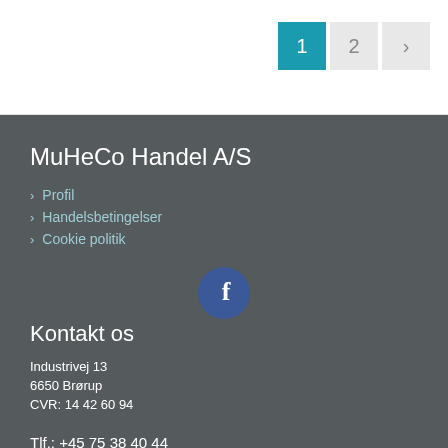Pagination: 1, 2, >
MuHeCo Handel A/S
Profil
Handelsbetingelser
Cookie politik
[Figure (logo): Facebook icon - blue circle with white f]
Kontakt os
Industrivej 13
6650 Brørup
CVR: 14 42 60 94
Tlf.:  +45 75 38 40 44
post@muheco.dk